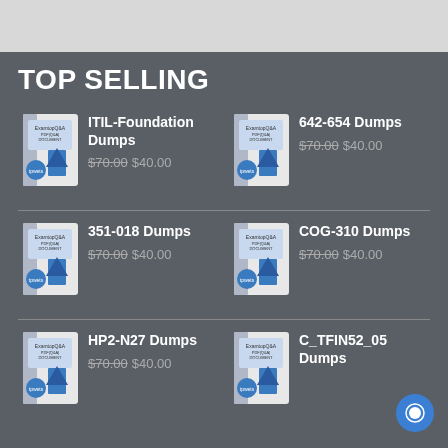TOP SELLING
[Figure (illustration): Book product image for ITIL-Foundation Dumps]
ITIL-Foundation Dumps
$70.00 $40.00
[Figure (illustration): Book product image for 642-654 Dumps]
642-654 Dumps
$70.00 $40.00
[Figure (illustration): Book product image for 351-018 Dumps]
351-018 Dumps
$70.00 $40.00
[Figure (illustration): Book product image for COG-310 Dumps]
COG-310 Dumps
$70.00 $40.00
[Figure (illustration): Book product image for HP2-N27 Dumps]
HP2-N27 Dumps
$70.00 $40.00
[Figure (illustration): Book product image for C_TFIN52_05 Dumps]
C_TFIN52_05 Dumps